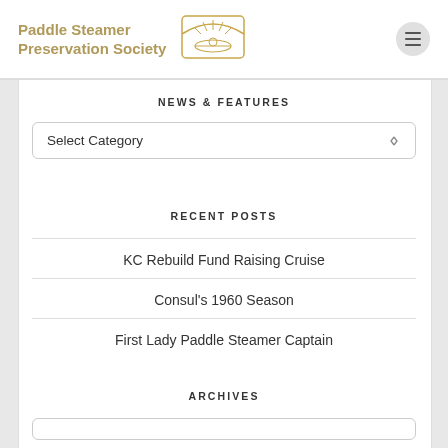Paddle Steamer Preservation Society
NEWS & FEATURES
Select Category
RECENT POSTS
KC Rebuild Fund Raising Cruise
Consul's 1960 Season
First Lady Paddle Steamer Captain
ARCHIVES